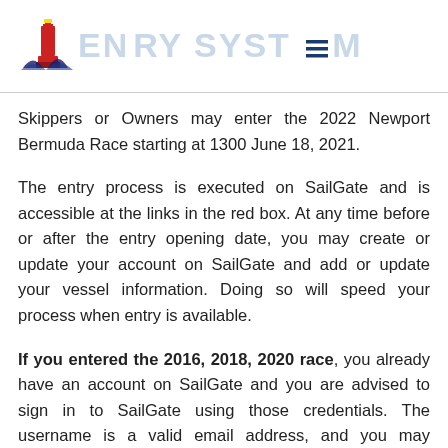ENTRY SYSTEM
Skippers or Owners may enter the 2022 Newport Bermuda Race starting at 1300 June 18, 2021.
The entry process is executed on SailGate and is accessible at the links in the red box. At any time before or after the entry opening date, you may create or update your account on SailGate and add or update your vessel information. Doing so will speed your process when entry is available.
If you entered the 2016, 2018, 2020 race, you already have an account on SailGate and you are advised to sign in to SailGate using those credentials. The username is a valid email address, and you may request to reset a forgotten password.